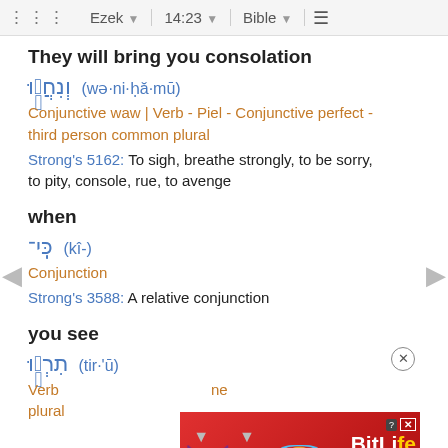Ezek  14:23  Bible
They will bring you consolation
וְנִחֲמ֣וּ (wə·ni·ḥă·mū)
Conjunctive waw | Verb - Piel - Conjunctive perfect - third person common plural
Strong's 5162: To sigh, breathe strongly, to be sorry, to pity, console, rue, to avenge
when
כִּֽי־ (kî-)
Conjunction
Strong's 3588: A relative conjunction
you see
תִרְא֣וּ (tir·'ū)
Verb ... ne
plural
[Figure (screenshot): BitLife mobile advertisement banner with emoji characters on red background, showing 'BitLife REAL CHOICES' text]